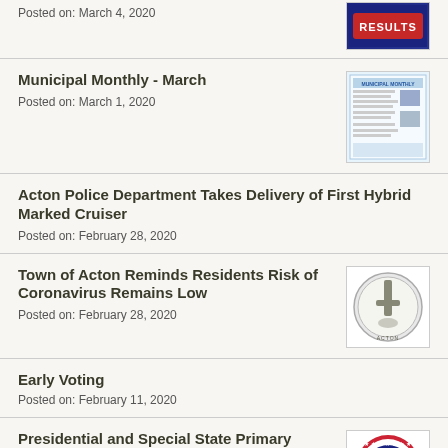Posted on: March 4, 2020
Municipal Monthly - March
Posted on: March 1, 2020
Acton Police Department Takes Delivery of First Hybrid Marked Cruiser
Posted on: February 28, 2020
Town of Acton Reminds Residents Risk of Coronavirus Remains Low
Posted on: February 28, 2020
Early Voting
Posted on: February 11, 2020
Presidential and Special State Primary Election - March 3, 2020
Posted on: February 12, 2020